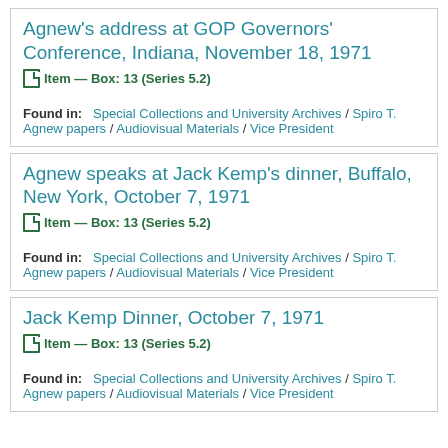Agnew's address at GOP Governors' Conference, Indiana, November 18, 1971
Item — Box: 13 (Series 5.2)
Found in: Special Collections and University Archives / Spiro T. Agnew papers / Audiovisual Materials / Vice President
Agnew speaks at Jack Kemp's dinner, Buffalo, New York, October 7, 1971
Item — Box: 13 (Series 5.2)
Found in: Special Collections and University Archives / Spiro T. Agnew papers / Audiovisual Materials / Vice President
Jack Kemp Dinner, October 7, 1971
Item — Box: 13 (Series 5.2)
Found in: Special Collections and University Archives / Spiro T. Agnew papers / Audiovisual Materials / Vice President